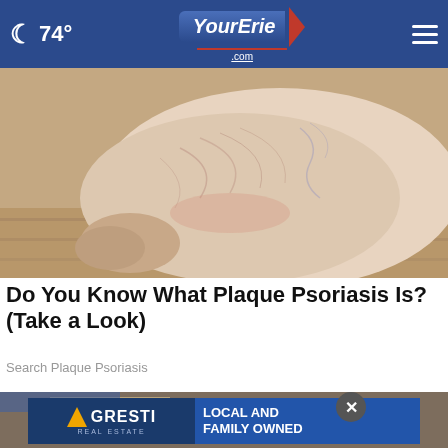74° YourErie.com
[Figure (photo): Close-up photo of a human foot/heel showing dry, cracked skin on a wooden floor background]
Do You Know What Plaque Psoriasis Is? (Take a Look)
Search Plaque Psoriasis
[Figure (photo): Partial view of wooden construction/hardware items]
[Figure (other): Agresti Real Estate advertisement banner: LOCAL AND FAMILY OWNED]